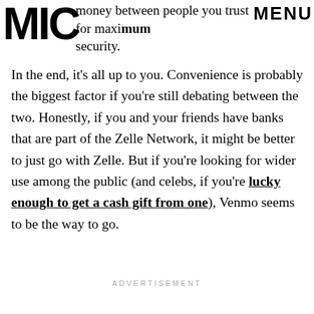money between people you trust for maximum security. MIC MENU
In the end, it's all up to you. Convenience is probably the biggest factor if you're still debating between the two. Honestly, if you and your friends have banks that are part of the Zelle Network, it might be better to just go with Zelle. But if you're looking for wider use among the public (and celebs, if you're lucky enough to get a cash gift from one), Venmo seems to be the way to go.
ADVERTISEMENT